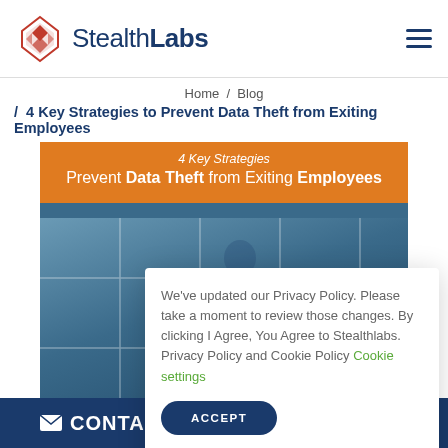StealthLabs
Home / Blog
/ 4 Key Strategies to Prevent Data Theft from Exiting Employees
[Figure (illustration): Blog article hero image with orange banner reading '4 Key Strategies - Prevent Data Theft from Exiting Employees' over a blurred office/airport window background with StealthLabs logo badge]
We've updated our Privacy Policy. Please take a moment to review those changes. By clicking I Agree, You Agree to Stealthlabs. Privacy Policy and Cookie Policy Cookie settings
ACCEPT
CONTACT